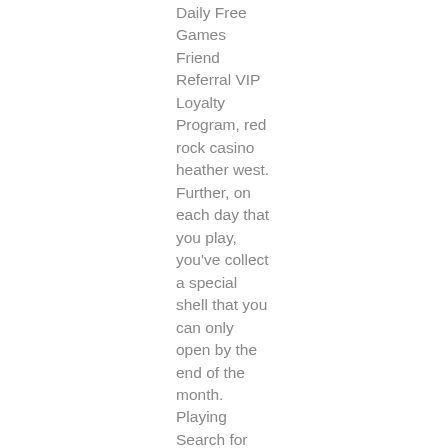Daily Free Games Friend Referral VIP Loyalty Program, red rock casino heather west. Further, on each day that you play, you've collect a special shell that you can only open by the end of the month. Playing Search for the Phoenix can also get you a chance to win free spins and big prizes, by playing every day, you can collect an egg that you can excitingly open by the end of the month also. Online Sportsbooks in Florida, red rock casino heather west. California Gambling Control Commission, holdem indicator free license key. 50 fish bag limit in aggregate of blue &amp; channel catfish. The daily creel limit for blue catfish has been increased from the statewide limit of 5 to 10 blue catfish on select waters. And equipment restrictions have changed. • lake texoma: daily limit for channel/blue catfish is now same as statewide. The creel limit is two for channel catfish and five for largemouth